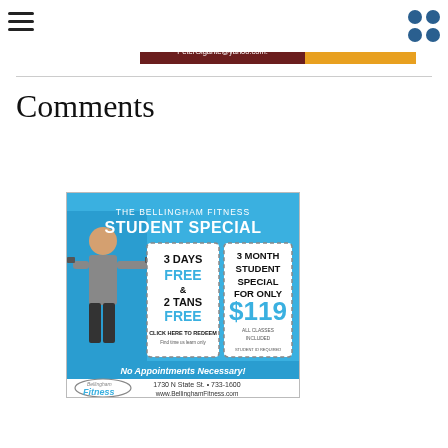[Figure (illustration): Partial banner advertisement with dark red/maroon left section showing email address PeterGigante@yahoo.com and orange right section with a circular logo element]
Comments
[Figure (illustration): Bellingham Fitness Student Special advertisement. THE BELLINGHAM FITNESS STUDENT SPECIAL. 3 DAYS FREE & 2 TANS FREE. CLICK HERE TO REDEEM. Find time us learn only. 3 MONTH STUDENT SPECIAL FOR ONLY $119. ALL CLASSES INCLUDED. STUDENT ID REQUIRED. No Appointments Necessary! Bellingham Fitness. 1730 N State St. • 733-1600. www.BellinghamFitness.com]